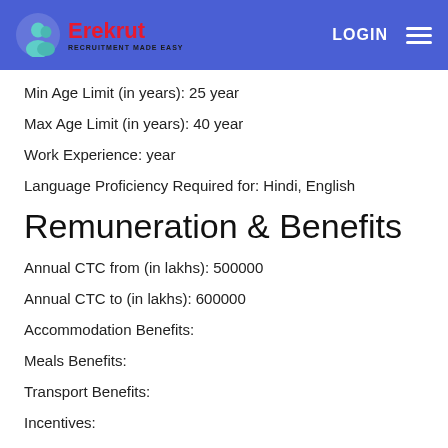Erekrut - RECRUITMENT MADE EASY | LOGIN
Min Age Limit (in years): 25 year
Max Age Limit (in years): 40 year
Work Experience: year
Language Proficiency Required for: Hindi, English
Remuneration & Benefits
Annual CTC from (in lakhs): 500000
Annual CTC to (in lakhs): 600000
Accommodation Benefits:
Meals Benefits:
Transport Benefits:
Incentives:
PF: